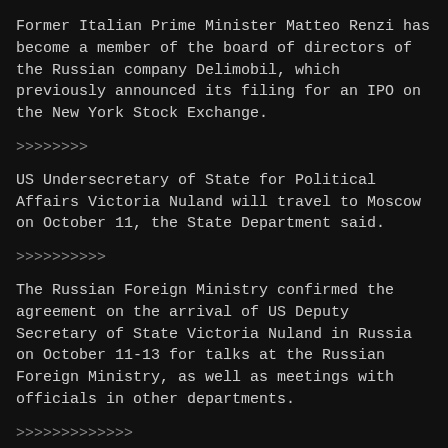Former Italian Prime Minister Matteo Renzi has become a member of the board of directors of the Russian company Delimobil, which previously announced its filing for an IPO on the New York Stock Exchange.
>>>>>>>>
US Undersecretary of State for Political Affairs Victoria Nuland will travel to Moscow on October 11, the State Department said.
>>>>>>>>>>
The Russian Foreign Ministry confirmed the agreement on the arrival of US Deputy Secretary of State Victoria Nuland in Russia on October 11-13 for talks at the Russian Foreign Ministry, as well as meetings with officials in other departments.
>>>>>>>>>>>>>
Joe Biden congratulated Novaya Gazeta editor-in-chief Dmitry Muratov and Filipino journalist Maria Ressa on winning...